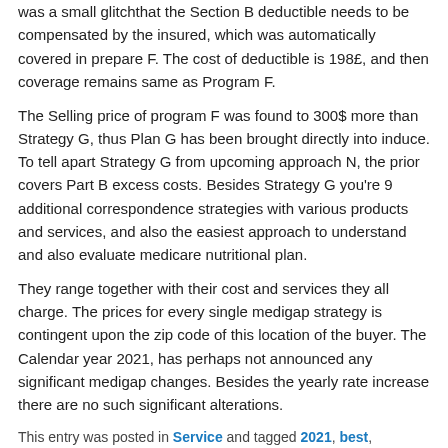was a small glitchthat the Section B deductible needs to be compensated by the insured, which was automatically covered in prepare F. The cost of deductible is 198£, and then coverage remains same as Program F.
The Selling price of program F was found to 300$ more than Strategy G, thus Plan G has been brought directly into induce. To tell apart Strategy G from upcoming approach N, the prior covers Part B excess costs. Besides Strategy G you're 9 additional correspondence strategies with various products and services, and also the easiest approach to understand and also evaluate medicare nutritional plan.
They range together with their cost and services they all charge. The prices for every single medigap strategy is contingent upon the zip code of this location of the buyer. The Calendar year 2021, has perhaps not announced any significant medigap changes. Besides the yearly rate increase there are no such significant alterations.
This entry was posted in Service and tagged 2021, best,